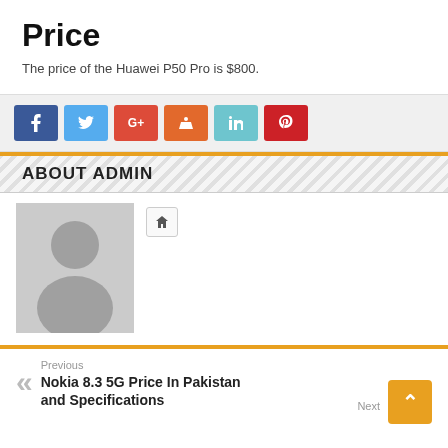Price
The price of the Huawei P50 Pro is $800.
[Figure (infographic): Social media share buttons: Facebook (blue), Twitter (light blue), Google+ (red), StumbleUpon (orange-red), LinkedIn (teal), Pinterest (red)]
ABOUT ADMIN
[Figure (photo): Generic user avatar placeholder (grey background with silhouette person icon) and a home icon button]
Previous
Nokia 8.3 5G Price In Pakistan and Specifications
Next